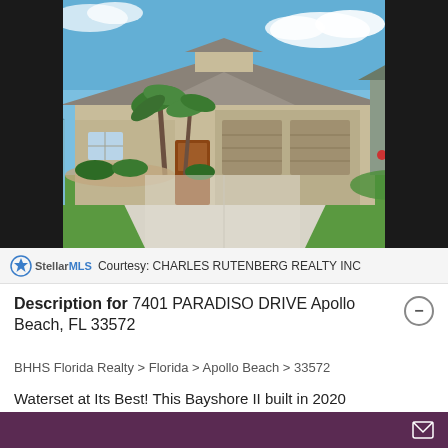[Figure (photo): Exterior photo of a single-story Florida home with tan/beige stucco, brown garage doors, palm trees, manicured landscaping, and a wide concrete driveway under a blue sky.]
Courtesy: CHARLES RUTENBERG REALTY INC
Description for 7401 PARADISO DRIVE Apollo Beach, FL 33572
BHHS Florida Realty > Florida > Apollo Beach > 33572
Waterset at Its Best! This Bayshore II built in 2020 reverberates simple sophistication and timeless elegance.